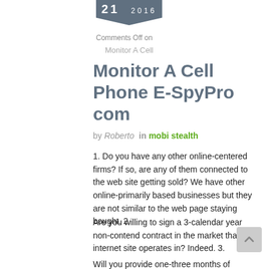21 2016
Comments Off on
Monitor A Cell
Monitor A Cell Phone E-SpyPro com
by Roberto  in mobi stealth
1. Do you have any other online-centered firms? If so, are any of them connected to the web site getting sold? We have other online-primarily based businesses but they are not similar to the web page staying bought. 2.
Are you willing to sign a 3-calendar year non-contend contract in the market that the internet site operates in? Indeed. 3.
Will you provide one-three months of submit-sale help and training, in purchase to guarantee that the purchaser is in a position